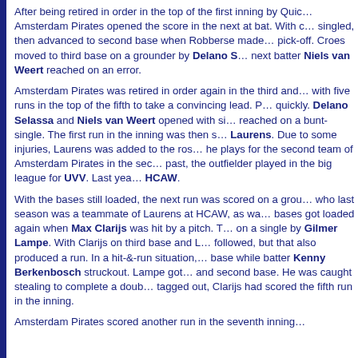After being retired in order in the top of the first inning by Quic... Amsterdam Pirates opened the score in the next at bat. With c... singled, then advanced to second base when Robberse made... pick-off. Croes moved to third base on a grounder by Delano S... next batter Niels van Weert reached on an error.
Amsterdam Pirates was retired in order again in the third and... with five runs in the top of the fifth to take a convincing lead. P... quickly. Delano Selassa and Niels van Weert opened with si... reached on a bunt-single. The first run in the inning was then s... Laurens. Due to some injuries, Laurens was added to the ros... he plays for the second team of Amsterdam Pirates in the sec... past, the outfielder played in the big league for UVV. Last yea... HCAW.
With the bases still loaded, the next run was scored on a grou... who last season was a teammate of Laurens at HCAW, as wa... bases got loaded again when Max Clarijs was hit by a pitch. T... on a single by Gilmer Lampe. With Clarijs on third base and L... followed, but that also produced a run. In a hit-&-run situation,... base while batter Kenny Berkenbosch struckout. Lampe got... and second base. He was caught stealing to complete a doub... tagged out, Clarijs had scored the fifth run in the inning.
Amsterdam Pirates scored another run in the seventh inning...